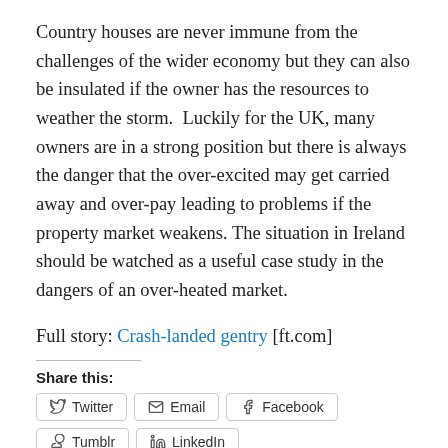Country houses are never immune from the challenges of the wider economy but they can also be insulated if the owner has the resources to weather the storm. Luckily for the UK, many owners are in a strong position but there is always the danger that the over-excited may get carried away and over-pay leading to problems if the property market weakens. The situation in Ireland should be watched as a useful case study in the dangers of an over-heated market.
Full story: Crash-landed gentry [ft.com]
Share this:
Twitter | Email | Facebook | Tumblr | LinkedIn | Reddit | Pinterest | Print